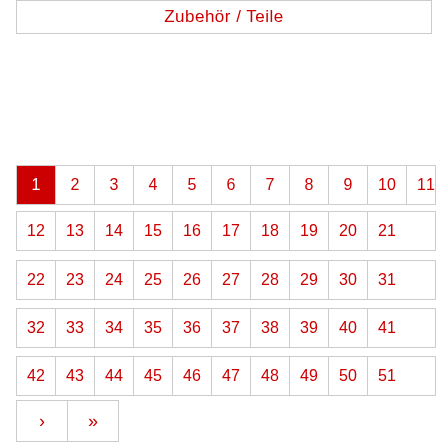Zubehör / Teile
| 1 | 2 | 3 | 4 | 5 | 6 | 7 | 8 | 9 | 10 | 11 |
| --- | --- | --- | --- | --- | --- | --- | --- | --- | --- | --- |
| 12 | 13 | 14 | 15 | 16 | 17 | 18 | 19 | 20 | 21 |
| 22 | 23 | 24 | 25 | 26 | 27 | 28 | 29 | 30 | 31 |
| 32 | 33 | 34 | 35 | 36 | 37 | 38 | 39 | 40 | 41 |
| 42 | 43 | 44 | 45 | 46 | 47 | 48 | 49 | 50 | 51 |
› »